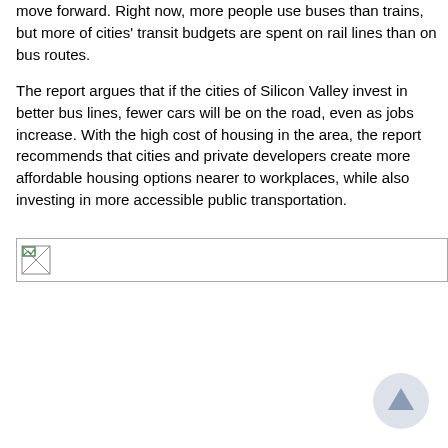move forward. Right now, more people use buses than trains, but more of cities' transit budgets are spent on rail lines than on bus routes.
The report argues that if the cities of Silicon Valley invest in better bus lines, fewer cars will be on the road, even as jobs increase. With the high cost of housing in the area, the report recommends that cities and private developers create more affordable housing options nearer to workplaces, while also investing in more accessible public transportation.
[Figure (photo): A broken/unloaded image placeholder with a small icon visible in the top-left corner.]